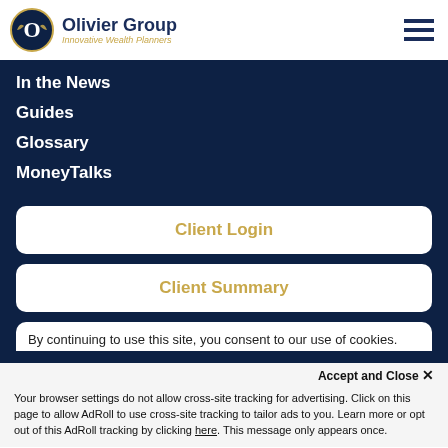Olivier Group — Innovative Wealth Planners
In the News
Guides
Glossary
MoneyTalks
Client Login
Client Summary
By continuing to use this site, you consent to our use of cookies.
Accept and Close ×
Your browser settings do not allow cross-site tracking for advertising. Click on this page to allow AdRoll to use cross-site tracking to tailor ads to you. Learn more or opt out of this AdRoll tracking by clicking here. This message only appears once.